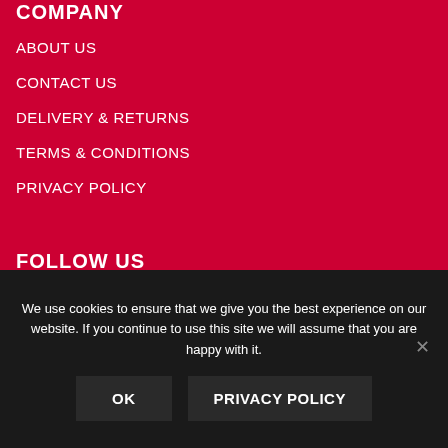COMPANY
ABOUT US
CONTACT US
DELIVERY & RETURNS
TERMS & CONDITIONS
PRIVACY POLICY
FOLLOW US
We use cookies to ensure that we give you the best experience on our website. If you continue to use this site we will assume that you are happy with it.
OK
PRIVACY POLICY